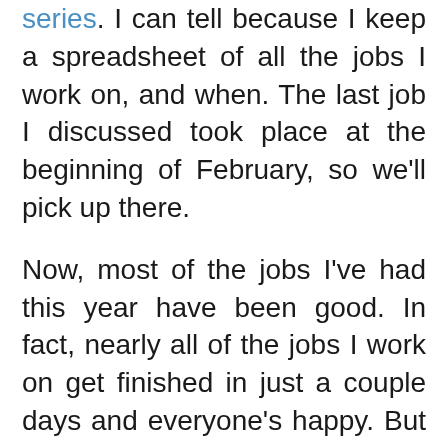series. I can tell because I keep a spreadsheet of all the jobs I work on, and when. The last job I discussed took place at the beginning of February, so we'll pick up there.
Now, most of the jobs I've had this year have been good. In fact, nearly all of the jobs I work on get finished in just a couple days and everyone's happy. But there are a few jobs that just go right to hell. These are those jobs.
People Hate to Pay for Writing